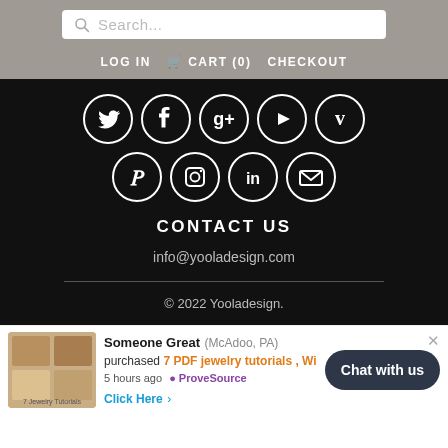Search... | LOG IN | CART (0) | CHECKOUT
[Figure (illustration): Social media icon row 1: Twitter, Facebook, Google+, YouTube, Vimeo — white icons on black circular backgrounds]
[Figure (illustration): Social media icon row 2: Pinterest, Instagram, LinkedIn, Email — white icons on black circular backgrounds]
CONTACT US
info@yooladesign.com
© 2022 Yooladesign.
Someone Great (McAdoo, PA) purchased 7 PDF jewelry tutorials, Wi... 5 hours ago ProveSource Click Here
Chat with us